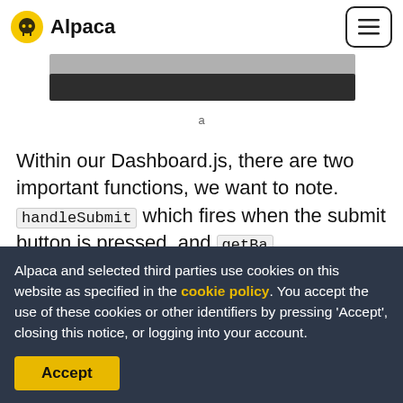Alpaca
[Figure (screenshot): Screenshot showing a dark code editor bar/image strip]
a
Within our Dashboard.js, there are two important functions, we want to note. handleSubmit which fires when the submit button is pressed, and getBa
Alpaca and selected third parties use cookies on this website as specified in the cookie policy. You accept the use of these cookies or other identifiers by pressing 'Accept', closing this notice, or logging into your account.
Accept